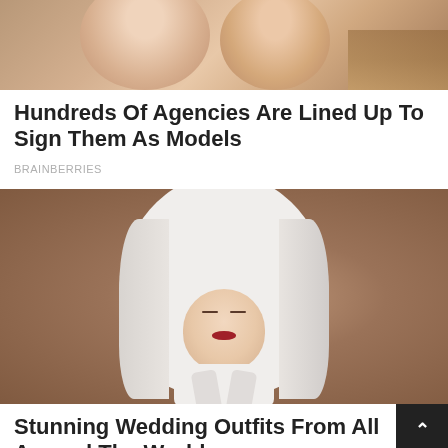[Figure (photo): Two people shown from shoulders up, partial view, outdoor setting with greenery]
Hundreds Of Agencies Are Lined Up To Sign Them As Models
BRAINBERRIES
[Figure (photo): Japanese bride wearing traditional white wedding headdress (wataboshi) and white kimono, eyes closed, red lips, warm brown background]
Stunning Wedding Outfits From All Around The World
BRAINBERRIES